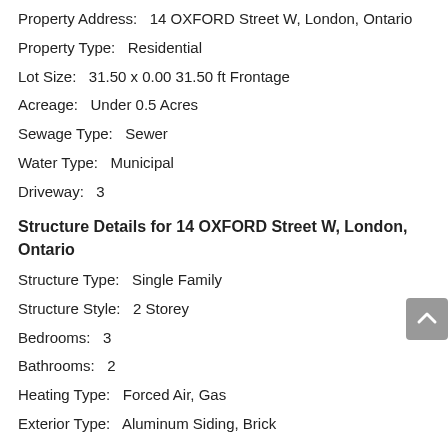Property Address:   14 OXFORD Street W, London, Ontario
Property Type:   Residential
Lot Size:   31.50 x 0.00 31.50 ft Frontage
Acreage:   Under 0.5 Acres
Sewage Type:   Sewer
Water Type:   Municipal
Driveway:   3
Structure Details for 14 OXFORD Street W, London, Ontario
Structure Type:   Single Family
Structure Style:   2 Storey
Bedrooms:   3
Bathrooms:   2
Heating Type:   Forced Air, Gas
Exterior Type:   Aluminum Siding, Brick
Amenities for 14 OXFORD Street W, London, Ontario